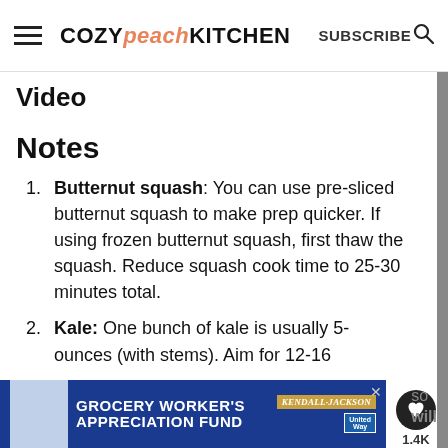COZY peach KITCHEN   SUBSCRIBE
Video
Notes
Butternut squash: You can use pre-sliced butternut squash to make prep quicker. If using frozen butternut squash, first thaw the squash. Reduce squash cook time to 25-30 minutes total.
Kale: One bunch of kale is usually 5- ounces (with stems). Aim for 12-16
[Figure (other): Advertisement banner for Grocery Worker's Appreciation Fund sponsored by Kendall-Jackson and United Way]